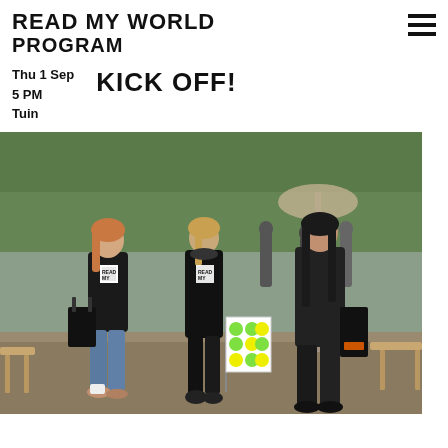READ MY WORLD
PROGRAM
Thu 1 Sep
5 PM
Tuin
KICK OFF!
[Figure (photo): Three people standing outdoors in a garden/courtyard setting, all wearing black t-shirts with 'Read My World' branding. The person on the left holds a black tote bag and wears jeans and sneakers. The person in the middle holds a green dotted flag/sign. The person on the right wears all black with a bag. People and trees visible in the background.]